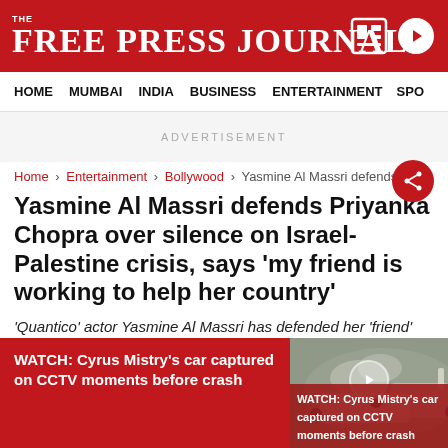THE FREE PRESS JOURNAL
HOME  MUMBAI  INDIA  BUSINESS  ENTERTAINMENT  SPO
ADVERTISEMENT
Home > Entertainment > Bollywood > Yasmine Al Massri defends Pri...
Yasmine Al Massri defends Priyanka Chopra over silence on Israel-Palestine crisis, says 'my friend is working to help her country'
'Quantico' actor Yasmine Al Massri has defended her 'friend' Priyanka Chopra on Twitter after a user questioned the
WATCH: Cyrus Mistry's car captured on CCTV moments before crash